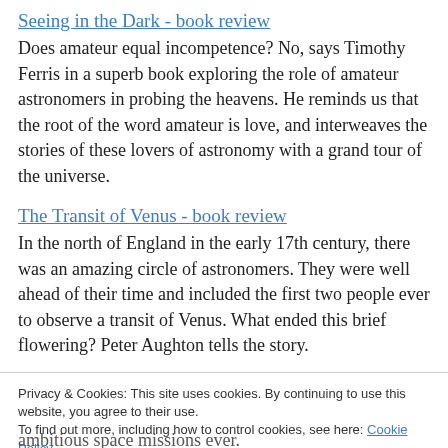Seeing in the Dark - book review
Does amateur equal incompetence? No, says Timothy Ferris in a superb book exploring the role of amateur astronomers in probing the heavens. He reminds us that the root of the word amateur is love, and interweaves the stories of these lovers of astronomy with a grand tour of the universe.
The Transit of Venus - book review
In the north of England in the early 17th century, there was an amazing circle of astronomers. They were well ahead of their time and included the first two people ever to observe a transit of Venus. What ended this brief flowering? Peter Aughton tells the story.
Privacy & Cookies: This site uses cookies. By continuing to use this website, you agree to their use.
To find out more, including how to control cookies, see here: Cookie Policy
Close and accept
ambitious space missions ever.